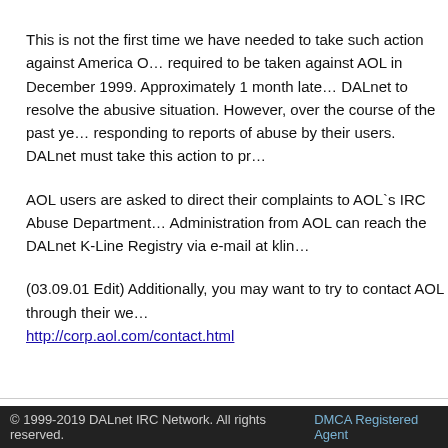This is not the first time we have needed to take such action against America O... required to be taken against AOL in December 1999. Approximately 1 month late... DALnet to resolve the abusive situation. However, over the course of the past ye... responding to reports of abuse by their users. DALnet must take this action to pr...
AOL users are asked to direct their complaints to AOL`s IRC Abuse Department... Administration from AOL can reach the DALnet K-Line Registry via e-mail at klin...
(03.09.01 Edit) Additionally, you may want to try to contact AOL through their we... http://corp.aol.com/contact.html
© 1999-2019 DALnet IRC Network. All rights reserved. DMCA Registered Agent